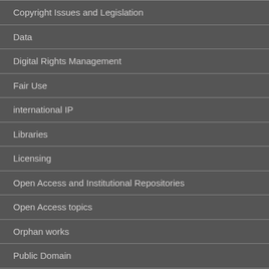Copyright Issues and Legislation
Data
Digital Rights Management
Fair Use
international IP
Libraries
Licensing
Open Access and Institutional Repositories
Open Access topics
Orphan works
Public Domain
Scholarly Communication Institute
Scholarly Publishing